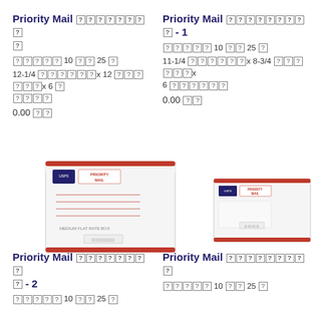Priority Mail [encoded] [encoded]
[encoded] 10 [encoded] 25 [encoded]
12-1/4 [encoded]x 12 [encoded]x 6 [encoded] [encoded]
0.00 [encoded]
Priority Mail [encoded] [encoded] - 1
[encoded] 10 [encoded] 25 [encoded]
11-1/4 [encoded]x 8-3/4 [encoded]x 6 [encoded]
0.00 [encoded]
[Figure (photo): Large Priority Mail flat rate box, white with red stripe, USPS branding]
[Figure (photo): Smaller Priority Mail flat rate box, white with red stripe, USPS branding]
Priority Mail [encoded] [encoded] - 2
Priority Mail [encoded] [encoded]
[encoded] 10 [encoded] 25 [encoded]
[encoded] 10 [encoded] 25 [encoded]